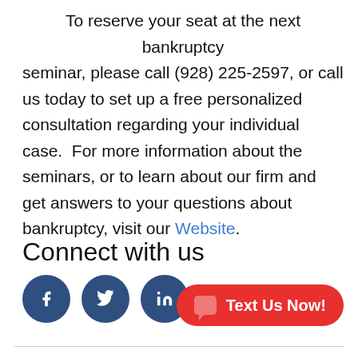To reserve your seat at the next bankruptcy seminar, please call (928) 225-2597, or call us today to set up a free personalized consultation regarding your individual case.  For more information about the seminars, or to learn about our firm and get answers to your questions about bankruptcy, visit our Website.
Connect with us
[Figure (other): Three social media icon buttons: Facebook (f), Twitter (bird), LinkedIn (in) — dark navy circular icons]
[Figure (other): Red pill-shaped button with chat icon and text 'Text Us Now!']